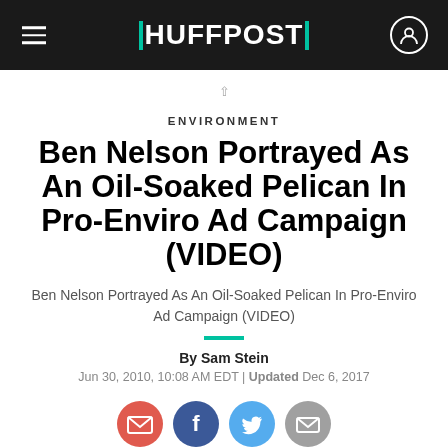HUFFPOST
ENVIRONMENT
Ben Nelson Portrayed As An Oil-Soaked Pelican In Pro-Enviro Ad Campaign (VIDEO)
Ben Nelson Portrayed As An Oil-Soaked Pelican In Pro-Enviro Ad Campaign (VIDEO)
By Sam Stein
Jun 30, 2010, 10:08 AM EDT | Updated Dec 6, 2017